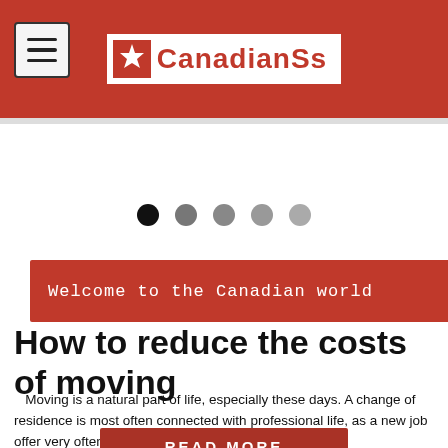CanadianSS
Welcome to the Canadian world
Lifestyle & Fashion
How to reduce the costs of moving
Moving is a natural part of life, especially these days. A change of residence is most often connected with professional life, as a new job offer very often entails
READ MORE